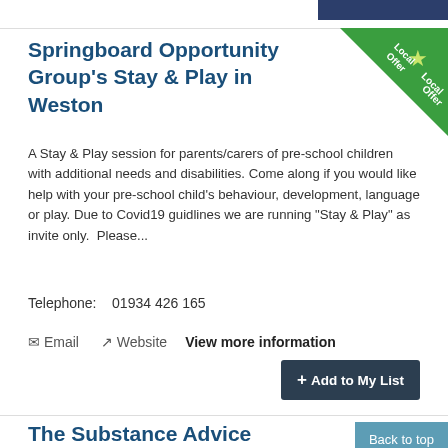Springboard Opportunity Group's Stay & Play in Weston
A Stay & Play session for parents/carers of pre-school children with additional needs and disabilities. Come along if you would like help with your pre-school child's behaviour, development, language or play. Due to Covid19 guidlines we are running "Stay & Play" as invite only.  Please...
Telephone:    01934 426 165
✉ Email    ⧉ Website   View more information
+ Add to My List
The Substance Advice Service (SAS)